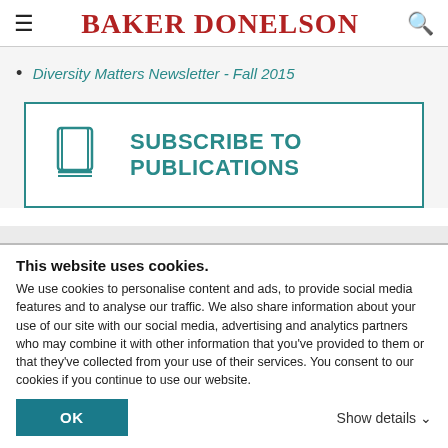BAKER DONELSON
Diversity Matters Newsletter - Fall 2015
[Figure (illustration): Subscribe to Publications box with book icon and teal border]
AUTHOR
This website uses cookies. We use cookies to personalise content and ads, to provide social media features and to analyse our traffic. We also share information about your use of our site with our social media, advertising and analytics partners who may combine it with other information that you've provided to them or that they've collected from your use of their services. You consent to our cookies if you continue to use our website.